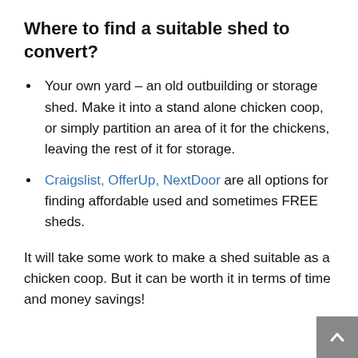Where to find a suitable shed to convert?
Your own yard – an old outbuilding or storage shed. Make it into a stand alone chicken coop, or simply partition an area of it for the chickens, leaving the rest of it for storage.
Craigslist, OfferUp, NextDoor are all options for finding affordable used and sometimes FREE sheds.
It will take some work to make a shed suitable as a chicken coop. But it can be worth it in terms of time and money savings!